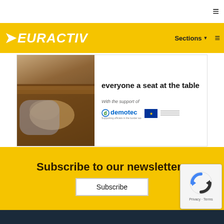≡
[Figure (logo): EURACTIV logo with yellow arrow and white italic text on yellow background, with Sections menu and hamburger icon]
[Figure (photo): Advertisement banner showing a person's hands at a wooden table with text 'everyone a seat at the table', with support from demotec and EU logos]
Subscribe to our newsletters
Subscribe
[Figure (other): reCAPTCHA badge with Privacy and Terms links]